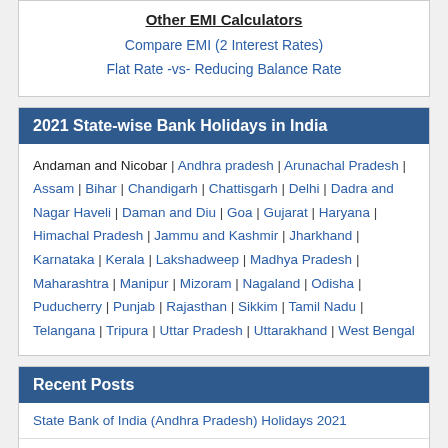Other EMI Calculators
Compare EMI (2 Interest Rates)
Flat Rate -vs- Reducing Balance Rate
2021 State-wise Bank Holidays in India
Andaman and Nicobar | Andhra pradesh | Arunachal Pradesh | Assam | Bihar | Chandigarh | Chattisgarh | Delhi | Dadra and Nagar Haveli | Daman and Diu | Goa | Gujarat | Haryana | Himachal Pradesh | Jammu and Kashmir | Jharkhand | Karnataka | Kerala | Lakshadweep | Madhya Pradesh | Maharashtra | Manipur | Mizoram | Nagaland | Odisha | Puducherry | Punjab | Rajasthan | Sikkim | Tamil Nadu | Telangana | Tripura | Uttar Pradesh | Uttarakhand | West Bengal
Recent Posts
State Bank of India (Andhra Pradesh) Holidays 2021
State Bank of India (Tamil Nadu) Holidays 2021
State Bank of India (Haryana) Holidays 2021
State Bank of India (Himachal Pradesh) Holidays 2021